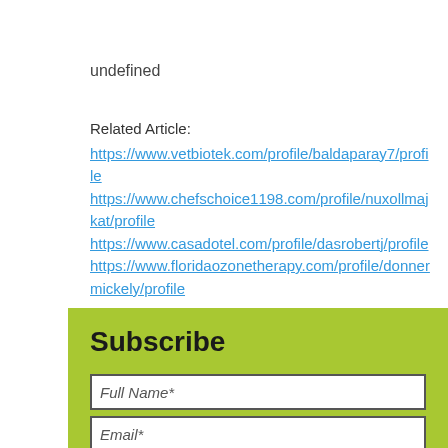undefined
Related Article:
https://www.vetbiotek.com/profile/baldaparay7/profile
https://www.chefschoice1198.com/profile/nuxollmajkat/profile
https://www.casadotel.com/profile/dasrobertj/profile
https://www.floridaozonetherapy.com/profile/donnermickely/profile
Subscribe
Full Name*
Email*